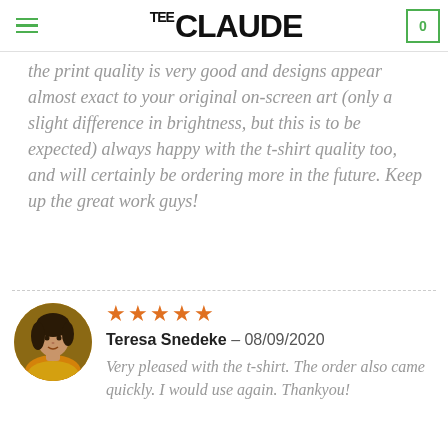TEE CLAUDE
the print quality is very good and designs appear almost exact to your original on-screen art (only a slight difference in brightness, but this is to be expected) always happy with the t-shirt quality too, and will certainly be ordering more in the future. Keep up the great work guys!
[Figure (photo): Circular avatar photo of Teresa Snedeke, a woman in a yellow top]
Teresa Snedeke – 08/09/2020
Very pleased with the t-shirt. The order also came quickly. I would use again. Thankyou!